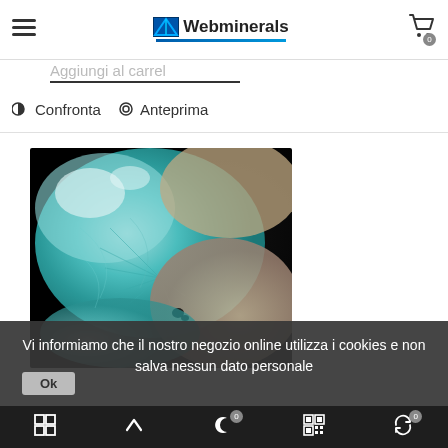Webminerals
Aggiungi al carrel
Confronta  Anteprima
[Figure (photo): Close-up photograph of a turquoise/blue-green mineral specimen (likely Larimar or Amazonite) showing crystalline texture on a dark background]
Vi informiamo che il nostro negozio online utilizza i cookies e non salva nessun dato personale
Bottom navigation bar with icons: grid, arrow up, moon (0), QR code, refresh (0)